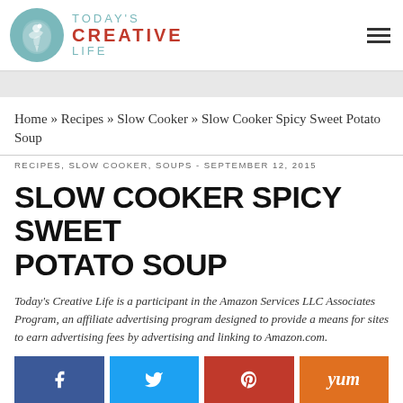[Figure (logo): Today's Creative Life logo with teal bird circle and text]
Home » Recipes » Slow Cooker » Slow Cooker Spicy Sweet Potato Soup
RECIPES, SLOW COOKER, SOUPS - SEPTEMBER 12, 2015
SLOW COOKER SPICY SWEET POTATO SOUP
Today's Creative Life is a participant in the Amazon Services LLC Associates Program, an affiliate advertising program designed to provide a means for sites to earn advertising fees by advertising and linking to Amazon.com.
[Figure (infographic): Social sharing buttons: Facebook (blue), Twitter (light blue), Pinterest (red), Yummly (orange)]